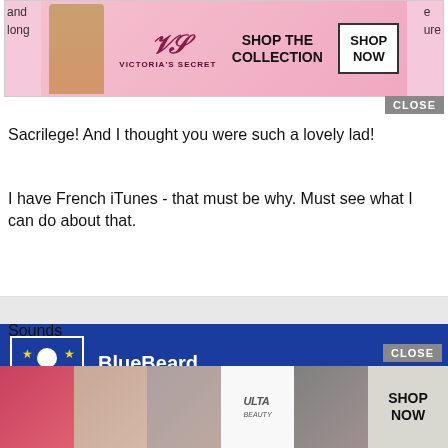[Figure (screenshot): Victoria's Secret advertisement banner with pink background, model photo, 'SHOP THE COLLECTION' text and 'SHOP NOW' button]
Sacrilege! And I thought you were such a lovely lad!
I have French iTunes - that must be why. Must see what I can do about that.
BlueBeard
Posted February 2, 2010
moi said:
I have French iTunes
Sounds
[Figure (screenshot): ULTA beauty advertisement banner with makeup photos and 'SHOP NOW' button]